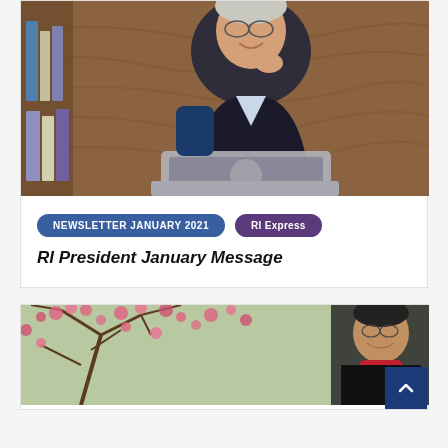[Figure (photo): Man in a dark suit sitting at a desk with an Apple MacBook laptop, smiling, in front of a wooden bookcase background]
NEWSLETTER JANUARY 2021
RI Express
RI President January Message
[Figure (photo): Man smiling in front of blooming pink cherry blossom branches, wearing a red scarf]